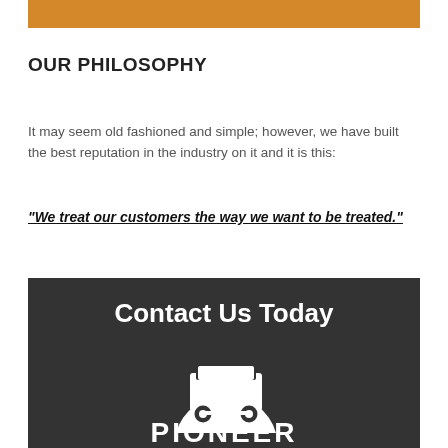[Figure (other): Orange decorative bar at the top of the page]
OUR PHILOSOPHY
It may seem old fashioned and simple; however, we have built the best reputation in the industry on it and it is this:
"We treat our customers the way we want to be treated."
[Figure (logo): Dark banner with 'Contact Us Today' text and Pioneer logo featuring a mining cart icon above the word PIONEER]